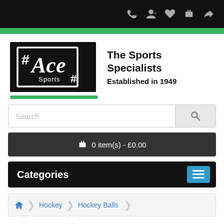[Figure (screenshot): Website header top black bar with icons: phone, user/account, heart/wishlist, cart, share]
[Figure (logo): Ace Sports logo — black background with hashtag, Ace script text and Sports text in white, with white rectangle border]
The Sports Specialists
Established in 1949
Search
0 item(s) - £0.00
Categories
Hockey > Hockey Balls
Product Compare (0)